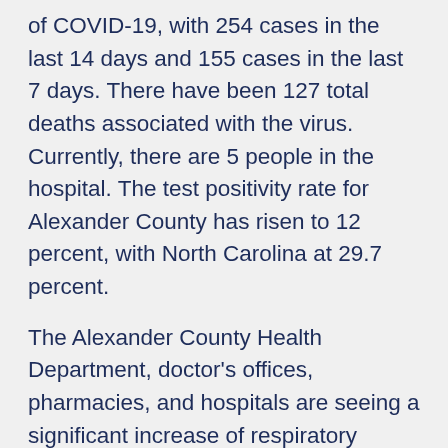of COVID-19, with 254 cases in the last 14 days and 155 cases in the last 7 days. There have been 127 total deaths associated with the virus. Currently, there are 5 people in the hospital. The test positivity rate for Alexander County has risen to 12 percent, with North Carolina at 29.7 percent.
The Alexander County Health Department, doctor's offices, pharmacies, and hospitals are seeing a significant increase of respiratory illnesses, and the demand is high for Covid testing. If you or a loved one are experiencing symptoms, please get tested so you can protect yourself and others. Please note that citizens should NOT go to the